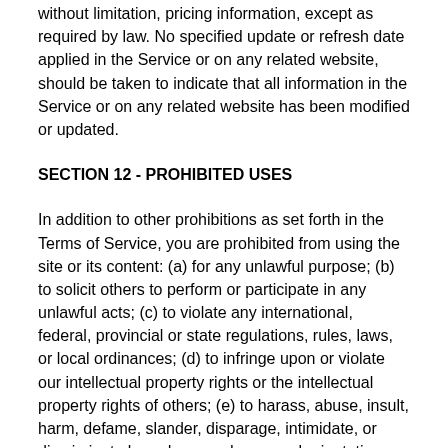without limitation, pricing information, except as required by law. No specified update or refresh date applied in the Service or on any related website, should be taken to indicate that all information in the Service or on any related website has been modified or updated.
SECTION 12 - PROHIBITED USES
In addition to other prohibitions as set forth in the Terms of Service, you are prohibited from using the site or its content: (a) for any unlawful purpose; (b) to solicit others to perform or participate in any unlawful acts; (c) to violate any international, federal, provincial or state regulations, rules, laws, or local ordinances; (d) to infringe upon or violate our intellectual property rights or the intellectual property rights of others; (e) to harass, abuse, insult, harm, defame, slander, disparage, intimidate, or discriminate based on gender, sexual orientation, religion, ethnicity, race, age, national origin, or disability; (f) to submit false or misleading information; (g) to upload or transmit viruses or any other type of malicious code that will or may be used in any way that will affect the functionality or operation of